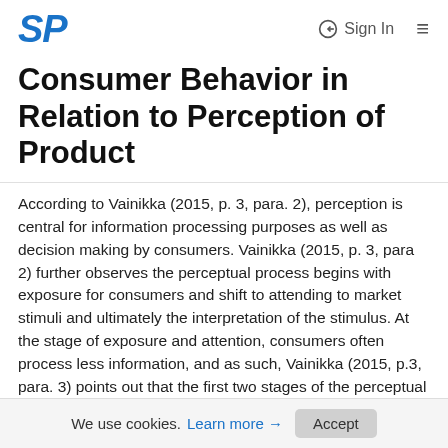SP  Sign In  ☰
Consumer Behavior in Relation to Perception of Product
According to Vainikka (2015, p. 3, para. 2), perception is central for information processing purposes as well as decision making by consumers. Vainikka (2015, p. 3, para 2) further observes the perceptual process begins with exposure for consumers and shift to attending to market stimuli and ultimately the interpretation of the stimulus. At the stage of exposure and attention, consumers often process less information, and as such, Vainikka (2015, p.3, para. 3) points out that the first two stages of the perceptual process are highly selective. In most instances, consumers in the first two stages of the perceptual process seldom process the stimuli in an objective manner because each consumer is likely to interpret the stimulus in
We use cookies.  Learn more →  Accept